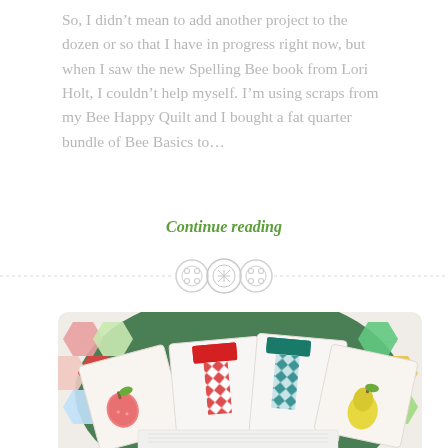So, I didn't mean to add another project to the dozen or so that I have in progress right now, but when I saw the new Spelling Bee book from Lori Holt, I couldn't help myself. I'm using scraps from my Bee Happy Quilt and I bought a fat quarter bundle of Bee Basics to...
Continue reading
[Figure (illustration): Three decorative button icons in a horizontal divider row]
[Figure (photo): Photo of quilting fabric blocks arranged in a fan shape on a green cutting mat and colorful hexagon patchwork background. Blocks show letter I shapes in red and teal argyle patterns, and fruit appliques (apple and pear).]